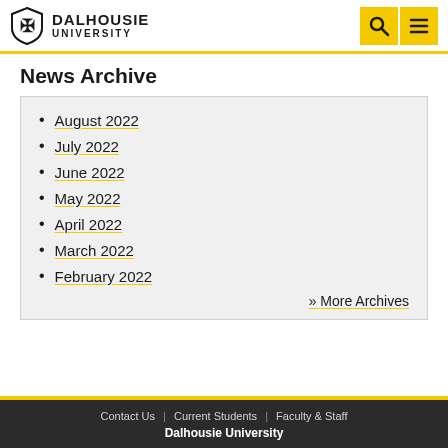Dalhousie University
News Archive
August 2022
July 2022
June 2022
May 2022
April 2022
March 2022
February 2022
» More Archives
Contact Us | Current Students | Faculty & Staff | Dalhousie University